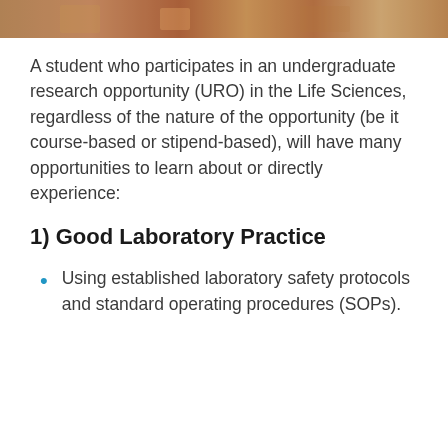[Figure (photo): Partial photo strip at top of page showing laboratory or research setting scene]
A student who participates in an undergraduate research opportunity (URO) in the Life Sciences, regardless of the nature of the opportunity (be it course-based or stipend-based), will have many opportunities to learn about or directly experience:
1) Good Laboratory Practice
Using established laboratory safety protocols and standard operating procedures (SOPs).